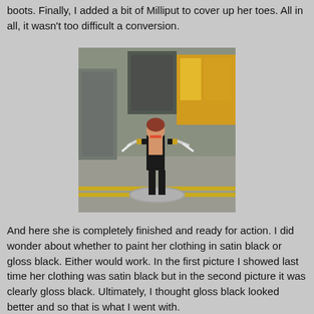boots. Finally, I added a bit of Milliput to cover up her toes. All in all, it wasn't too difficult a conversion.
[Figure (photo): A painted miniature figurine of a female character in black clothing, holding bladed weapons, standing on a round base. Background shows a graffiti-covered wall scene.]
And here she is completely finished and ready for action. I did wonder about whether to paint her clothing in satin black or gloss black. Either would work. In the first picture I showed last time her clothing was satin black but in the second picture it was clearly gloss black. Ultimately, I thought gloss black looked better and so that is what I went with.